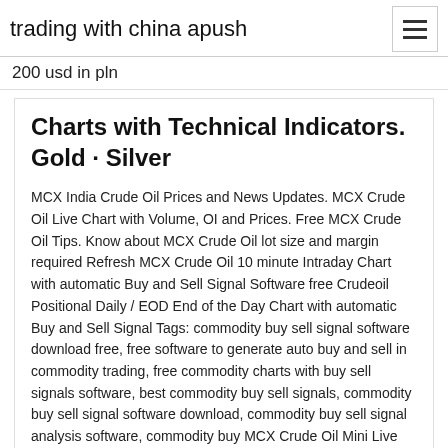trading with china apush
200 usd in pln
Charts with Technical Indicators. Gold · Silver
MCX India Crude Oil Prices and News Updates. MCX Crude Oil Live Chart with Volume, OI and Prices. Free MCX Crude Oil Tips. Know about MCX Crude Oil lot size and margin required Refresh MCX Crude Oil 10 minute Intraday Chart with automatic Buy and Sell Signal Software free Crudeoil Positional Daily / EOD End of the Day Chart with automatic Buy and Sell Signal Tags: commodity buy sell signal software download free, free software to generate auto buy and sell in commodity trading, free commodity charts with buy sell signals software, best commodity buy sell signals, commodity buy sell signal software download, commodity buy sell signal analysis software, commodity buy MCX Crude Oil Mini Live Chart. The below MCX Crude Oil Mini Live Chart and power levels are updated